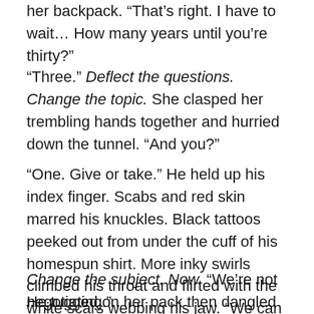her backpack. “That’s right. I have to wait… How many years until you’re thirty?”
“Three.” Deflect the questions. Change the topic. She clasped her trembling hands together and hurried down the tunnel. “And you?”
“One. Give or take.” He held up his index finger. Scabs and red skin marred his knuckles. Black tattoos peeked out from under the cuff of his homespun shirt. More inky swirls climbed his throat and flirted with the white scars webbing his jaw. “We can split the difference and make it two.”
Change the subject. Now. “We’re not negotiating.”
He tugged on her pack then dangled a faceless human shape in front of her. “Cookie?”